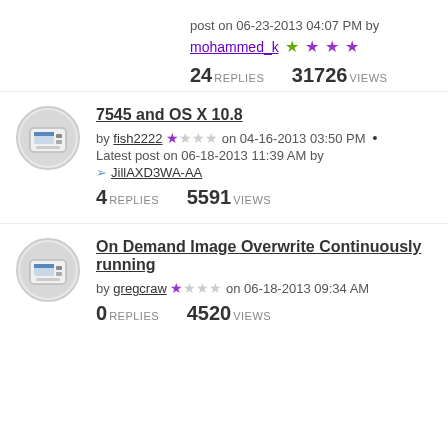post on 06-23-2013 04:07 PM by
mohammed_k ★★★★ (1 green star, 3 purple stars)
24 REPLIES   31726 VIEWS
[Figure (photo): Printer/device avatar thumbnail]
7545 and OS X 10.8
by fish2222 ★☆☆☆ on 04-16-2013 03:50 PM •
Latest post on 06-18-2013 11:39 AM by
➢ JillAXD3WA-AA
4 REPLIES   5591 VIEWS
[Figure (photo): Printer/device avatar thumbnail]
On Demand Image Overwrite Continuously running
by gregcraw ★☆☆☆ on 06-18-2013 09:34 AM
0 REPLIES   4520 VIEWS